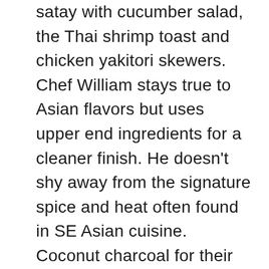satay with cucumber salad, the Thai shrimp toast and chicken yakitori skewers. Chef William stays true to Asian flavors but uses upper end ingredients for a cleaner finish. He doesn't shy away from the signature spice and heat often found in SE Asian cuisine. Coconut charcoal for their grills and a new tandoori oven will allow them to turn up the heat and explore further across the Asian food palate, they will be expanding the menu over time. A great assortment of Tiki cocktails complement the food and cocktails are available to go in single-serving pouches. Their talented